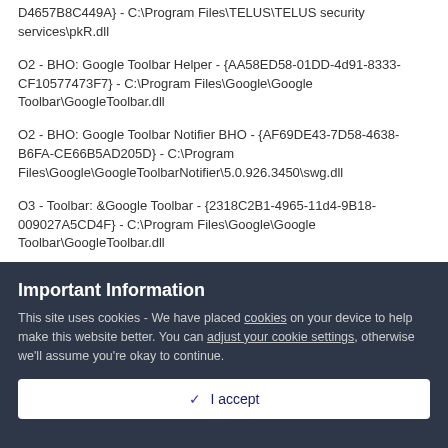D4657B8C449A} - C:\Program Files\TELUS\TELUS security services\pkR.dll
O2 - BHO: Google Toolbar Helper - {AA58ED58-01DD-4d91-8333-CF10577473F7} - C:\Program Files\Google\Google Toolbar\GoogleToolbar.dll
O2 - BHO: Google Toolbar Notifier BHO - {AF69DE43-7D58-4638-B6FA-CE66B5AD205D} - C:\Program Files\Google\GoogleToolbarNotifier\5.0.926.3450\swg.dll
O3 - Toolbar: &Google Toolbar - {2318C2B1-4965-11d4-9B18-009027A5CD4F} - C:\Program Files\Google\Google Toolbar\GoogleToolbar.dll
Important Information
This site uses cookies - We have placed cookies on your device to help make this website better. You can adjust your cookie settings, otherwise we'll assume you're okay to continue.
✓ I accept